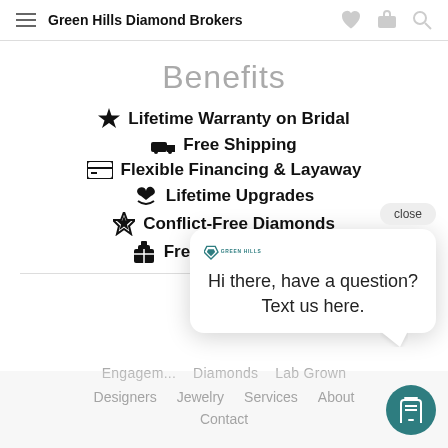Green Hills Diamond Brokers
Benefits
Lifetime Warranty on Bridal
Free Shipping
Flexible Financing & Layaway
Lifetime Upgrades
Conflict-Free Diamonds
Free Gift Wrapping
[Figure (screenshot): Chat popup with Green Hills logo and message: Hi there, have a question? Text us here.]
Engagement... Diamonds Lab Grown
Designers  Jewelry  Services  About
Contact